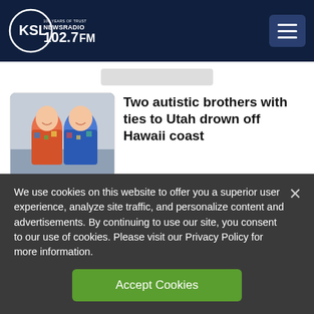[Figure (logo): KSL NewsRadio 102.7FM logo — white circle with KSL text and 100 Years of Trust tagline]
[Figure (screenshot): Hamburger menu button (three horizontal lines) on dark navy background]
[Figure (photo): Photo of two young men in colorful Hawaiian shirts smiling]
Two autistic brothers with ties to Utah drown off Hawaii coast
[Figure (photo): Close-up photo of a capuchin monkey face]
California police responded after a capuchin monkey
We use cookies on this website to offer you a superior user experience, analyze site traffic, and personalize content and advertisements. By continuing to use our site, you consent to our use of cookies. Please visit our Privacy Policy for more information.
Accept Cookies